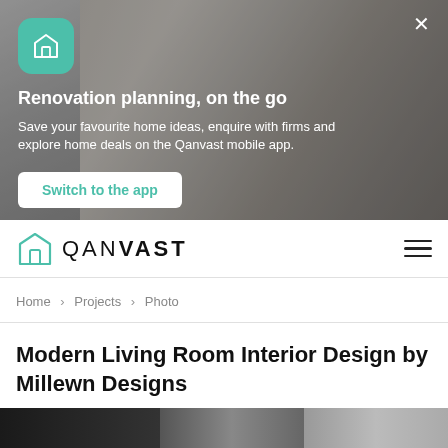[Figure (screenshot): App promotion banner with blurred interior room background showing a dining area. Contains Qanvast app icon (teal rounded square with house outline), headline, description text, and a 'Switch to the app' button. A close (×) button is in the top right corner.]
Renovation planning, on the go
Save your favourite home ideas, enquire with firms and explore home deals on the Qanvast mobile app.
Switch to the app
[Figure (logo): Qanvast logo: teal house outline icon followed by text QANVAST in spaced capital letters with VAST in bold]
Home › Projects › Photo
Modern Living Room Interior Design by Millewn Designs
[Figure (photo): Partial view of a living room interior design photo strip at bottom of page, mostly dark/cropped]